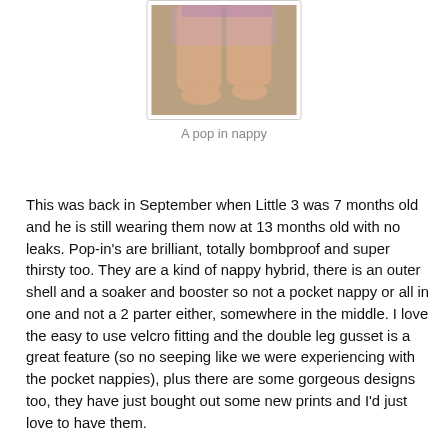[Figure (photo): Photo of a baby/toddler's legs and feet wearing a pop-in nappy, against a tan/beige carpet background]
A pop in nappy
This was back in September when Little 3 was 7 months old and he is still wearing them now at 13 months old with no leaks. Pop-in's are brilliant, totally bombproof and super thirsty too. They are a kind of nappy hybrid, there is an outer shell and a soaker and booster so not a pocket nappy or all in one and not a 2 parter either, somewhere in the middle. I love the easy to use velcro fitting and the double leg gusset is a great feature (so no seeping like we were experiencing with the pocket nappies), plus there are some gorgeous designs too, they have just bought out some new prints and I'd just love to have them.
I love Pop in's and wish we had found them earlier, over the last few months I have sold on all the nappies that were no longer working for us and replaced most of my nappy stash with pop ins.